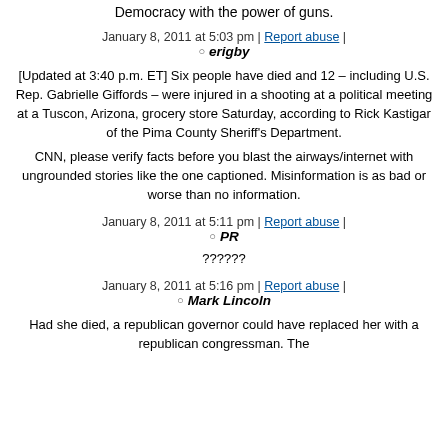Democracy with the power of guns.
January 8, 2011 at 5:03 pm | Report abuse |
erigby
[Updated at 3:40 p.m. ET] Six people have died and 12 – including U.S. Rep. Gabrielle Giffords – were injured in a shooting at a political meeting at a Tuscon, Arizona, grocery store Saturday, according to Rick Kastigar of the Pima County Sheriff's Department.
CNN, please verify facts before you blast the airways/internet with ungrounded stories like the one captioned. Misinformation is as bad or worse than no information.
January 8, 2011 at 5:11 pm | Report abuse |
PR
??????
January 8, 2011 at 5:16 pm | Report abuse |
Mark Lincoln
Had she died, a republican governor could have replaced her with a republican congressman. The